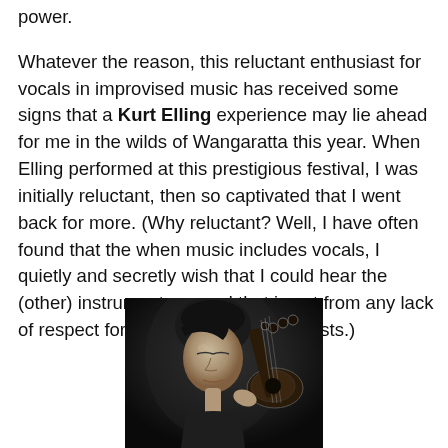power.
Whatever the reason, this reluctant enthusiast for vocals in improvised music has received some signs that a Kurt Elling experience may lie ahead for me in the wilds of Wangaratta this year. When Elling performed at this prestigious festival, I was initially reluctant, then so captivated that I went back for more. (Why reluctant? Well, I have often found that the when music includes vocals, I quietly and secretly wish that I could hear the (other) instruments — and that is not from any lack of respect for the talents of the vocalists.)
[Figure (photo): Black and white photograph of a young woman with short dark hair, eyes closed, holding what appears to be a stringed instrument (possibly a sitar or similar instrument), photographed from a low angle against a dark background.]